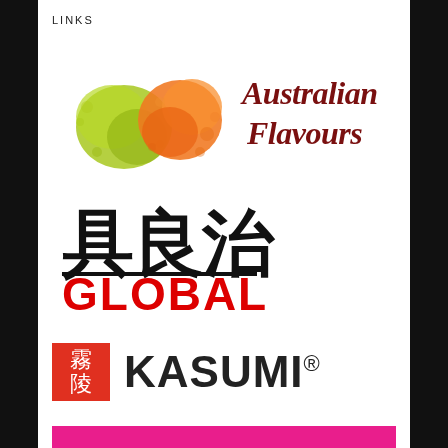LINKS
[Figure (logo): Australian Flavours logo — colorful green and orange paint splash blobs on the left, and stylized dark red handwritten text 'Australian Flavours' on the right]
[Figure (logo): BL Global logo — large bold black Chinese/CJK characters on top, and bold red 'GLOBAL' text below]
[Figure (logo): Kasumi logo — red square with white Japanese kanji characters on left, followed by bold dark grey 'KASUMI' text with registered trademark symbol]